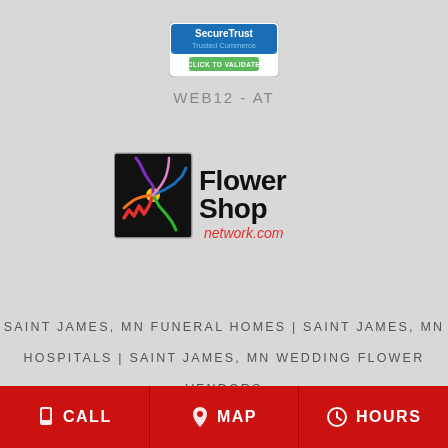[Figure (logo): SecureTrust Trusted Commerce - Click to Validate badge]
WEB12-AT
[Figure (logo): Flower Shop Network.com logo with colorful flower graphic]
SAINT JAMES, MN FUNERAL HOMES | SAINT JAMES, MN HOSPITALS | SAINT JAMES, MN WEDDING FLOWER VENDORS SAINT JAMES, MN WEATHER | MN STATE GOVERNMENT SITE PRIVACY POLICY | TERMS OF PURCHASE
CALL   MAP   HOURS